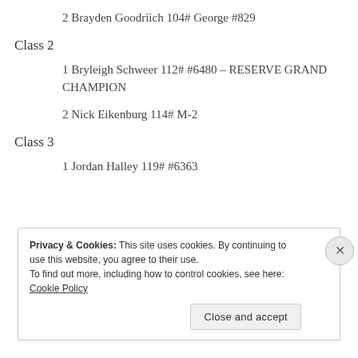2 Brayden Goodriich 104# George #829
Class 2
1 Bryleigh Schweer 112# #6480 – RESERVE GRAND CHAMPION
2 Nick Eikenburg 114# M-2
Class 3
1 Jordan Halley 119# #6363
Privacy & Cookies: This site uses cookies. By continuing to use this website, you agree to their use. To find out more, including how to control cookies, see here: Cookie Policy